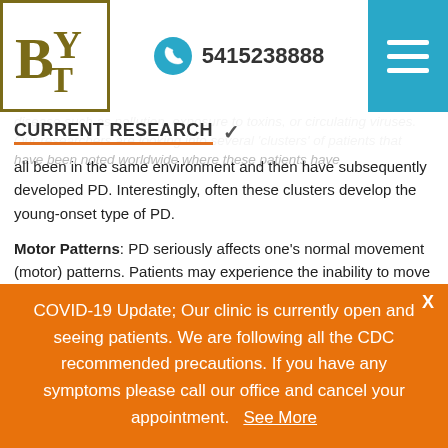[Figure (logo): BY logo with serif letters in olive/gold color inside a bordered box]
5415238888
CURRENT RESEARCH
disease such as pollution, exposure to toxins, or circulating viruses. Our researchers are looking into several 'clusters' of patients that have been noted worldwide where these patients have all been in the same environment and then have subsequently developed PD. Interestingly, often these clusters develop the young-onset type of PD.
Motor Patterns: PD seriously affects one's normal movement (motor) patterns.  Patients may experience the inability to move when they desire (akinesia), slowness of movement (bradykinesia) or with medication they may develop abhorrent movements (dyskinesias).
Current research is focusing on why these movements occur and how to prevent them from causing the patient
COVID-19 Update; Our clinic is currently open and seeing patients. We are following all the CDC recommended precautions. If you have any symptoms please call our office and cancel your appointment.   See More